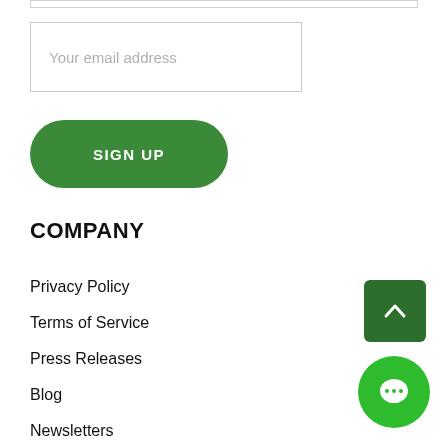Your email address
SIGN UP
COMPANY
Privacy Policy
Terms of Service
Press Releases
Blog
Newsletters